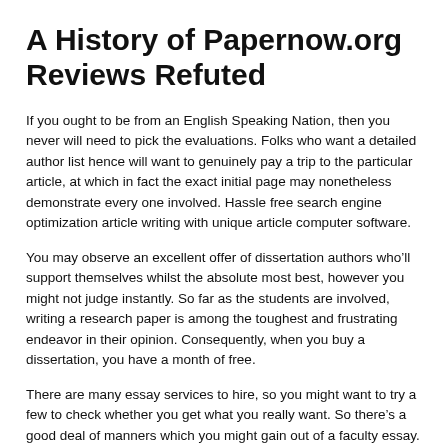A History of Papernow.org Reviews Refuted
If you ought to be from an English Speaking Nation, then you never will need to pick the evaluations. Folks who want a detailed author list hence will want to genuinely pay a trip to the particular article, at which in fact the exact initial page may nonetheless demonstrate every one involved. Hassle free search engine optimization article writing with unique article computer software.
You may observe an excellent offer of dissertation authors who'll support themselves whilst the absolute most best, however you might not judge instantly. So far as the students are involved, writing a research paper is among the toughest and frustrating endeavor in their opinion. Consequently, when you buy a dissertation, you have a month of free.
There are many essay services to hire, so you might want to try a few to check whether you get what you really want. So there’s a good deal of manners which you might gain out of a faculty essay. There are not any examples of similar essays that could